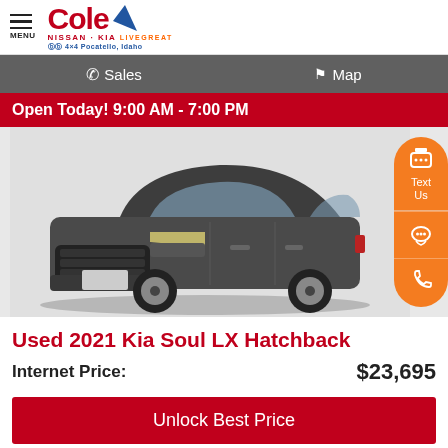Cole Nissan Kia Live Great — Pocatello, Idaho
Sales   Map
Open Today! 9:00 AM - 7:00 PM
[Figure (photo): Gray 2021 Kia Soul LX Hatchback front three-quarter view on white background with orange floating contact buttons (Text Us, chat, phone)]
Used 2021 Kia Soul LX Hatchback
Internet Price: $23,695
Unlock Best Price